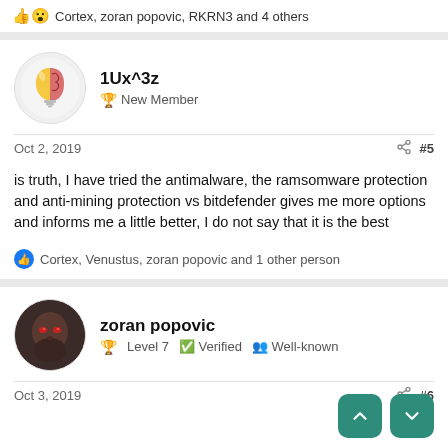👍😮 Cortex, zoran popovic, RKRN3 and 4 others
1Ux^3z
New Member
Oct 2, 2019	#5
is truth, I have tried the antimalware, the ramsomware protection and anti-mining protection vs bitdefender gives me more options and informs me a little better, I do not say that it is the best
👍 Cortex, Venustus, zoran popovic and 1 other person
zoran popovic
Level 7   Verified   Well-known
Oct 3, 2019	#6